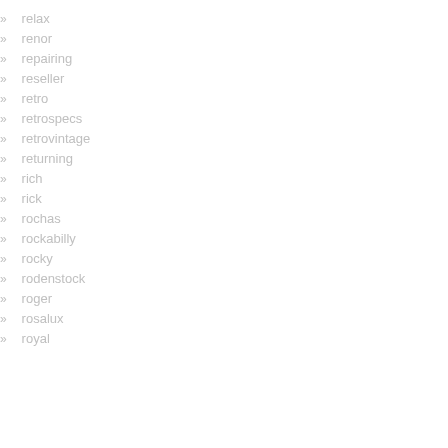» relax
» renor
» repairing
» reseller
» retro
» retrospecs
» retrovintage
» returning
» rich
» rick
» rochas
» rockabilly
» rocky
» rodenstock
» roger
» rosalux
» royal